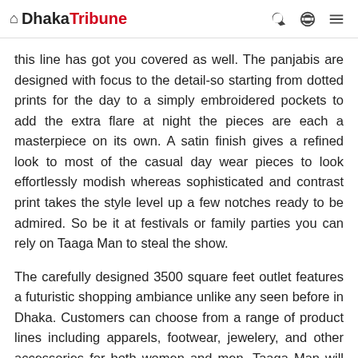Dhaka Tribune
this line has got you covered as well. The panjabis are designed with focus to the detail-so starting from dotted prints for the day to a simply embroidered pockets to add the extra flare at night the pieces are each a masterpiece on its own. A satin finish gives a refined look to most of the casual day wear pieces to look effortlessly modish whereas sophisticated and contrast print takes the style level up a few notches ready to be admired. So be it at festivals or family parties you can rely on Taaga Man to steal the show.
The carefully designed 3500 square feet outlet features a futuristic shopping ambiance unlike any seen before in Dhaka. Customers can choose from a range of product lines including apparels, footwear, jewelery, and other accessories for both women and men. Taaga Man will also be available at five existing Aarong outlets – Uttara, Jamuna Future Park, Bashundhara City, Mirpur 12, Mymenshingh-- which have been newly designed to incorporate the line.